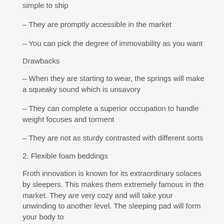simple to ship
– They are promptly accessible in the market
– You can pick the degree of immovability as you want
Drawbacks
– When they are starting to wear, the springs will make a squeaky sound which is unsavory
– They can complete a superior occupation to handle weight focuses and torment
– They are not as sturdy contrasted with different sorts
2. Flexible foam beddings
Froth innovation is known for its extraordinary solaces by sleepers. This makes them extremely famous in the market. They are very cozy and will take your unwinding to another level. The sleeping pad will form your body to